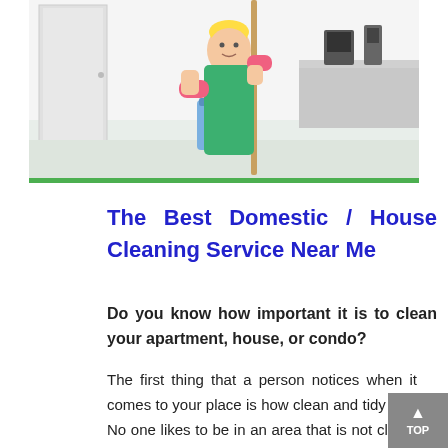[Figure (photo): A person in a green apron and pink gloves holding a mop and a blue bucket filled with cleaning supplies, standing in a clean white kitchen/bathroom setting. A green bar runs along the bottom edge of the image.]
The Best Domestic / House Cleaning Service Near Me
Do you know how important it is to clean your apartment, house, or condo?
The first thing that a person notices when it comes to your place is how clean and tidy it is. No one likes to be in an area that is not clean; no matter what is the reason, it brings a terrible impact on